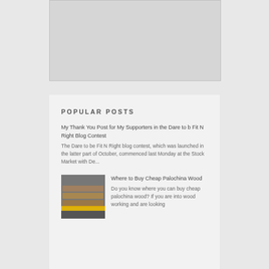[Figure (photo): Gray placeholder image box at top of sidebar widget]
POPULAR POSTS
My Thank You Post for My Supporters in the Dare to b Fit N Right Blog Contest The Dare to be Fit N Right blog contest, which was launched in the latter part of October, commenced last Monday at the Stock Market with De...
[Figure (photo): Photo of palochina wood pieces with a measuring tape on a gray surface]
Where to Buy Cheap Palochina Wood Do you know where you can buy cheap palochina wood? If you are into wood working and are looking